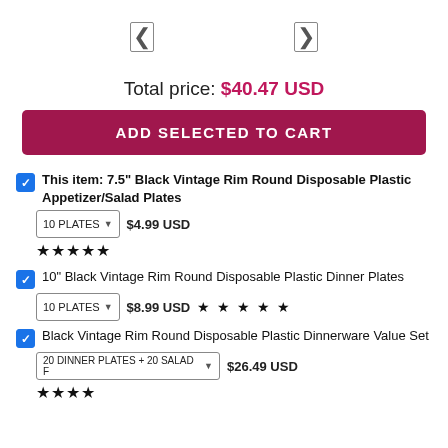[Figure (other): Two navigation icon buttons (left and right arrows) centered at top of page]
Total price: $40.47 USD
ADD SELECTED TO CART
This item: 7.5" Black Vintage Rim Round Disposable Plastic Appetizer/Salad Plates | 10 PLATES | $4.99 USD | ★★★★★
10" Black Vintage Rim Round Disposable Plastic Dinner Plates | 10 PLATES | $8.99 USD | ★★★★★
Black Vintage Rim Round Disposable Plastic Dinnerware Value Set | 20 DINNER PLATES + 20 SALAD F | $26.49 USD | ★★★★